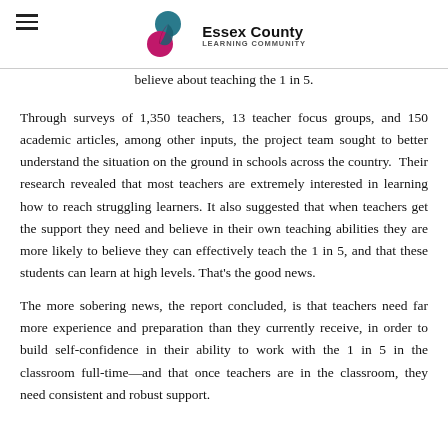Essex County Learning Community
believe about teaching the 1 in 5.
Through surveys of 1,350 teachers, 13 teacher focus groups, and 150 academic articles, among other inputs, the project team sought to better understand the situation on the ground in schools across the country.  Their research revealed that most teachers are extremely interested in learning how to reach struggling learners. It also suggested that when teachers get the support they need and believe in their own teaching abilities they are more likely to believe they can effectively teach the 1 in 5, and that these students can learn at high levels. That's the good news.
The more sobering news, the report concluded, is that teachers need far more experience and preparation than they currently receive, in order to build self-confidence in their ability to work with the 1 in 5 in the classroom full-time—and that once teachers are in the classroom, they need consistent and robust support. In a word: If you don't make the learning outcomes of training a priority, training alone won't cut it.